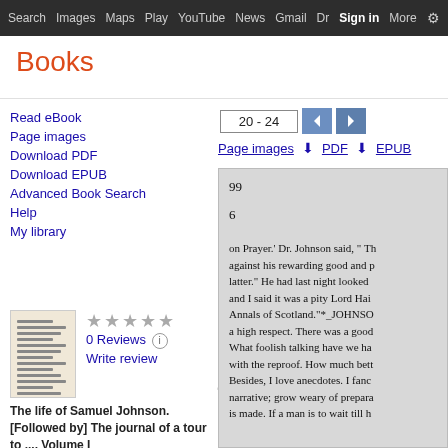Search  Images  Maps  Play  YouTube  News  Gmail  Dr  Sign in  More  ⚙
Books
Read eBook
Page images
Download PDF
Download EPUB
Advanced Book Search
Help
My library
[Figure (illustration): Book cover thumbnail showing lines of text]
★★★★★
0 Reviews ⓘ
Write review
The life of Samuel Johnson. [Followed by] The journal of a tour to ..., Volume I
[Figure (screenshot): Scanned book page showing page numbers 99 and 6, with text: 'on Prayer.' Dr. Johnson said, " Th against his rewarding good and p latter." He had last night looked and I said it was a pity Lord Hai Annals of Scotland."*_JOHNSO a high respect. There was a good What foolish talking have we ha with the reproof. How much bett Besides, I love anecdotes. I fanc narrative; grow weary of prepara is made. If a man is to wait till h]
20 - 24
Page images  ⬇ PDF  ⬇ EPUB